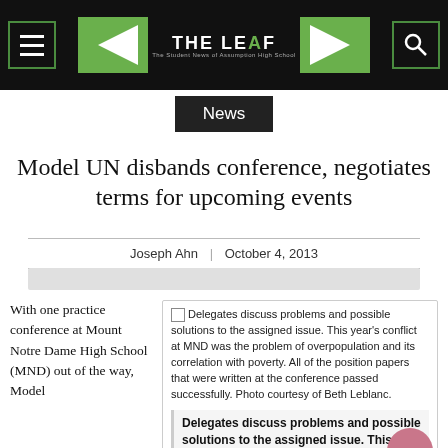THE LEAF — The Student News of Assumption High School
News
Model UN disbands conference, negotiates terms for upcoming events
Joseph Ahn | October 4, 2013
[Figure (photo): Placeholder image with caption: Delegates discuss problems and possible solutions to the assigned issue. This year's conflict at MND was the problem of overpopulation and its correlation with poverty. All of the position papers that were written at the conference passed successfully. Photo courtesy of Beth Leblanc.]
Delegates discuss problems and possible solutions to the assigned issue. This year's
With one practice conference at Mount Notre Dame High School (MND) out of the way, Model